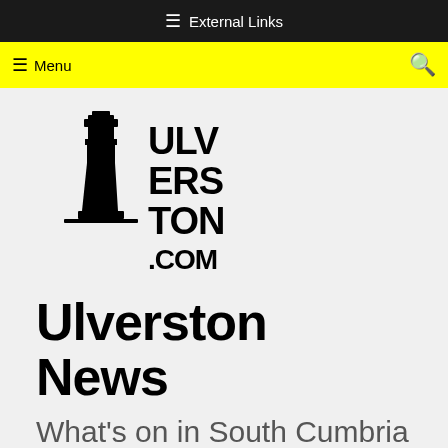☰ External Links
☰ Menu 🔍
[Figure (logo): Ulverston.com lighthouse logo with bold stacked text reading ULV ERS TON .COM alongside a lighthouse illustration]
Ulverston News
What's on in South Cumbria